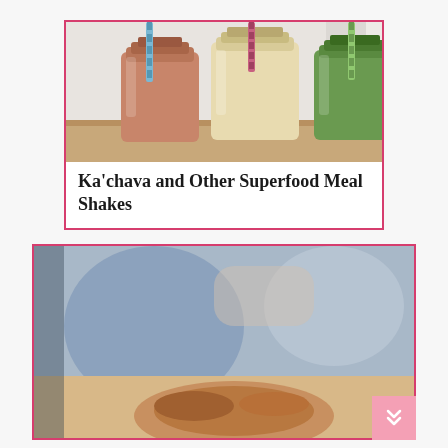[Figure (photo): Three glass milk bottles filled with different colored smoothies (chocolate/red, vanilla/cream, and green), each with a striped straw, photographed on a wooden surface with a light background.]
Ka'chava and Other Superfood Meal Shakes
[Figure (photo): Partial photo of a person in a kitchen or dining setting, blurred background with blue tones.]